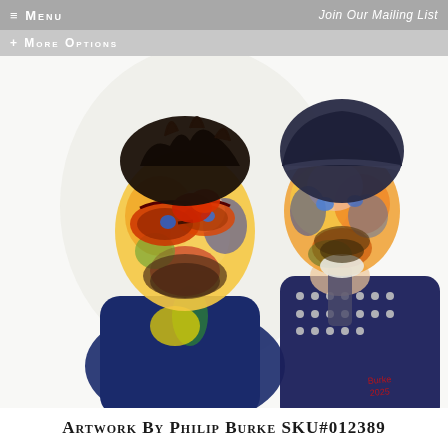≡ MENU    Join Our Mailing List    + MORE OPTIONS
[Figure (illustration): Colorful expressionist painting of two musicians (Bono and The Edge from U2) rendered in vivid yellows, blues, oranges, reds, and greens. The left figure wears large red/orange sunglasses and a blue suit; the right figure wears a dark beanie hat and a studded leather jacket. The painting is signed 'Burke 2025' in the lower right corner.]
Artwork By Philip Burke SKU#012389